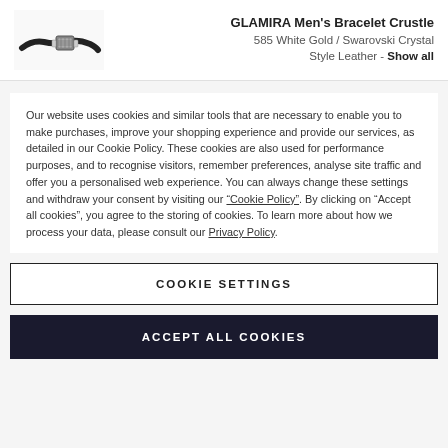[Figure (photo): Product photo of a men's leather bracelet with a decorative clasp]
GLAMIRA Men's Bracelet Crustle
585 White Gold / Swarovski Crystal
Style Leather - Show all
Our website uses cookies and similar tools that are necessary to enable you to make purchases, improve your shopping experience and provide our services, as detailed in our Cookie Policy. These cookies are also used for performance purposes, and to recognise visitors, remember preferences, analyse site traffic and offer you a personalised web experience. You can always change these settings and withdraw your consent by visiting our "Cookie Policy". By clicking on "Accept all cookies", you agree to the storing of cookies. To learn more about how we process your data, please consult our Privacy Policy.
COOKIE SETTINGS
ACCEPT ALL COOKIES